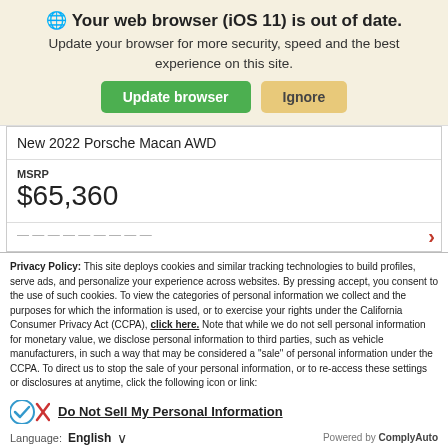🌐 Your web browser (iOS 11) is out of date.
Update your browser for more security, speed and the best experience on this site.
New 2022 Porsche Macan AWD
MSRP $65,360
Privacy Policy: This site deploys cookies and similar tracking technologies to build profiles, serve ads, and personalize your experience across websites. By pressing accept, you consent to the use of such cookies. To view the categories of personal information we collect and the purposes for which the information is used, or to exercise your rights under the California Consumer Privacy Act (CCPA), click here. Note that while we do not sell personal information for monetary value, we disclose personal information to third parties, such as vehicle manufacturers, in such a way that may be considered a "sale" of personal information under the CCPA. To direct us to stop the sale of your personal information, or to re-access these settings or disclosures at anytime, click the following icon or link:
Do Not Sell My Personal Information
Language: English
Powered by ComplyAuto
Accept and Continue →
California Privacy Disclosures